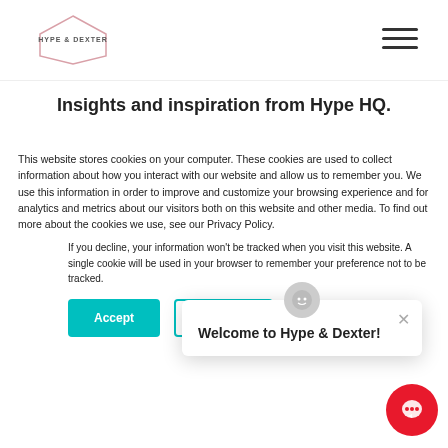[Figure (logo): Hype & Dexter logo — hexagonal outline with text HYPE & DEXTER]
[Figure (illustration): Hamburger menu icon (three horizontal lines)]
Insights and inspiration from Hype HQ.
[Figure (photo): Partial teal/cyan colored image strip visible behind cookie overlay]
This website stores cookies on your computer. These cookies are used to collect information about how you interact with our website and allow us to remember you. We use this information in order to improve and customize your browsing experience and for analytics and metrics about our visitors both on this website and other media. To find out more about the cookies we use, see our Privacy Policy.
If you decline, your information won't be tracked when you visit this website. A single cookie will be used in your browser to remember your preference not to be tracked.
[Figure (screenshot): Welcome to Hype & Dexter chat popup with close button and icon]
[Figure (illustration): Red circular chat bubble button in bottom right corner]